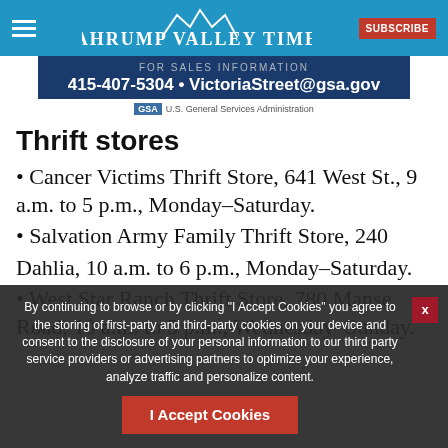Pahrump Valley Times
[Figure (infographic): Advertisement banner: FOR SALES INFORMATION 415-407-5304 • VictoriaStreet@gsa.gov with U.S. General Services Administration GSA logo]
Thrift stores
• Cancer Victims Thrift Store, 641 West St., 9 a.m. to 5 p.m., Monday–Saturday.
• Salvation Army Family Thrift Store, 240 Dahlia, 10 a.m. to 6 p.m., Monday–Saturday.
• West Star Ranch Thrift Store, 780 Manse Road, 10 a.m. to 5 p.m., Wednesday–Sunday.
By continuing to browse or by clicking "I Accept Cookies" you agree to the storing of first-party and third-party cookies on your device and consent to the disclosure of your personal information to our third party service providers or advertising partners to optimize your experience, analyze traffic and personalize content.
I Accept Cookies